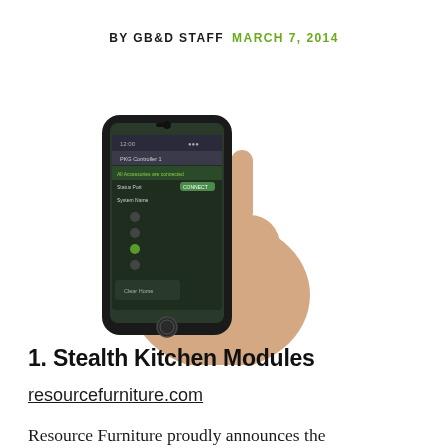BY GB&D STAFF   MARCH 7, 2014
[Figure (photo): A hand holding a smartphone displaying an app interface with a dark themed screen showing controller settings]
1. Stealth Kitchen Modules
resourcefurniture.com
Resource Furniture proudly announces the